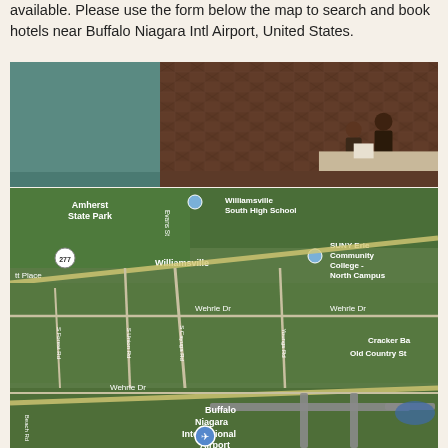available. Please use the form below the map to search and book hotels near Buffalo Niagara Intl Airport, United States.
[Figure (photo): Hotel lobby reception area with teal wall on left and dark wood herringbone wall on right, two people visible behind a counter]
[Figure (map): Aerial satellite map showing Buffalo Niagara International Airport area with surrounding neighborhoods including Williamsville, SUNY Erie Community College North Campus, Williamsville South High School, and various roads including Wehrle Dr, S Cayuga Rd, S Union Rd, S Forest Rd, Evans St, Youngs Rd, and route 277]